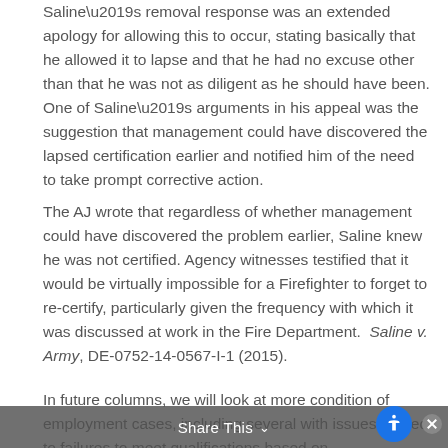Saline’s removal response was an extended apology for allowing this to occur, stating basically that he allowed it to lapse and that he had no excuse other than that he was not as diligent as he should have been. One of Saline’s arguments in his appeal was the suggestion that management could have discovered the lapsed certification earlier and notified him of the need to take prompt corrective action.
The AJ wrote that regardless of whether management could have discovered the problem earlier, Saline knew he was not certified. Agency witnesses testified that it would be virtually impossible for a Firefighter to forget to re-certify, particularly given the frequency with which it was discussed at work in the Fire Department. Saline v. Army, DE-0752-14-0567-I-1 (2015).
In future columns, we will look at more condition of employment cases, including several with issues related to failures to meet qualifications based on